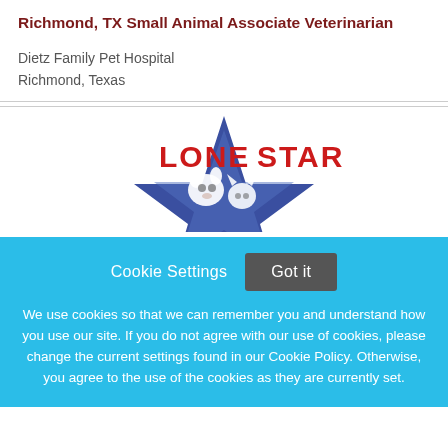Richmond, TX Small Animal Associate Veterinarian
Dietz Family Pet Hospital
Richmond, Texas
[Figure (logo): Lone Star Veterinary logo with a blue star and silhouettes of a dog and cat, with red text reading LONE STAR]
Cookie Settings   Got it
We use cookies so that we can remember you and understand how you use our site. If you do not agree with our use of cookies, please change the current settings found in our Cookie Policy. Otherwise, you agree to the use of the cookies as they are currently set.